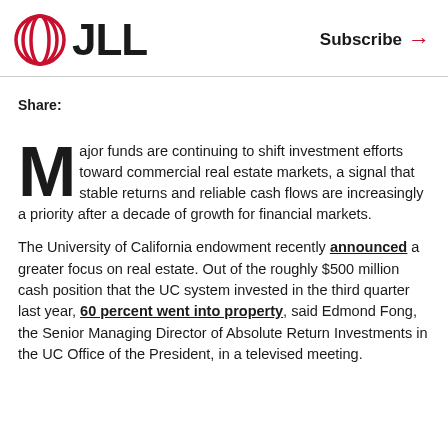JLL | Subscribe →
Share:
Major funds are continuing to shift investment efforts toward commercial real estate markets, a signal that stable returns and reliable cash flows are increasingly a priority after a decade of growth for financial markets.
The University of California endowment recently announced a greater focus on real estate. Out of the roughly $500 million cash position that the UC system invested in the third quarter last year, 60 percent went into property, said Edmond Fong, the Senior Managing Director of Absolute Return Investments in the UC Office of the President, in a televised meeting.